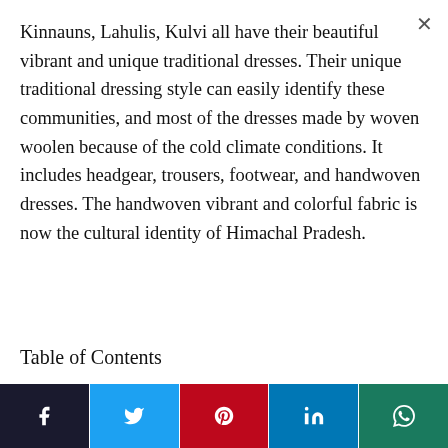Kinnauns, Lahulis, Kulvi all have their beautiful vibrant and unique traditional dresses. Their unique traditional dressing style can easily identify these communities, and most of the dresses made by woven woolen because of the cold climate conditions. It includes headgear, trousers, footwear, and handwoven dresses. The handwoven vibrant and colorful fabric is now the cultural identity of Himachal Pradesh.
Table of Contents
[Figure (infographic): Social share bar with Facebook, Twitter, Pinterest, LinkedIn, and WhatsApp buttons]